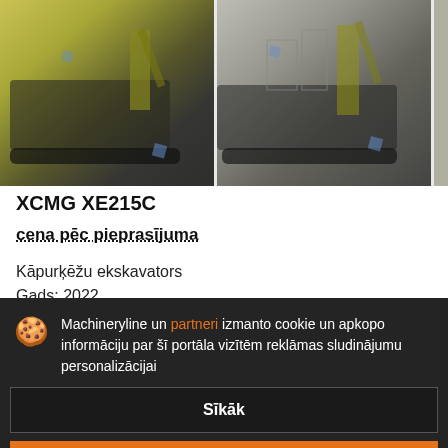[Figure (photo): Two yellow and black XCMG XE215C crawler excavators photographed outdoors, with blue diamond watermarks overlaid.]
XCMG XE215C
cena pēc pieprasījuma
Kāpurķēžu ekskavators
Gads: 2022
Machineryline un partneri izmanto cookie un apkopo informāciju par šī portāla vizītēm reklāmas sludinājumu personalizācijai
Sīkāk
Piekrist un aizvērt